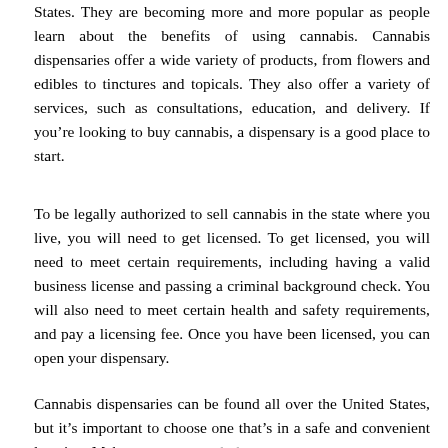States. They are becoming more and more popular as people learn about the benefits of using cannabis. Cannabis dispensaries offer a wide variety of products, from flowers and edibles to tinctures and topicals. They also offer a variety of services, such as consultations, education, and delivery. If you’re looking to buy cannabis, a dispensary is a good place to start.
To be legally authorized to sell cannabis in the state where you live, you will need to get licensed. To get licensed, you will need to meet certain requirements, including having a valid business license and passing a criminal background check. You will also need to meet certain health and safety requirements, and pay a licensing fee. Once you have been licensed, you can open your dispensary.
Cannabis dispensaries can be found all over the United States, but it’s important to choose one that’s in a safe and convenient location. Make sure to research the